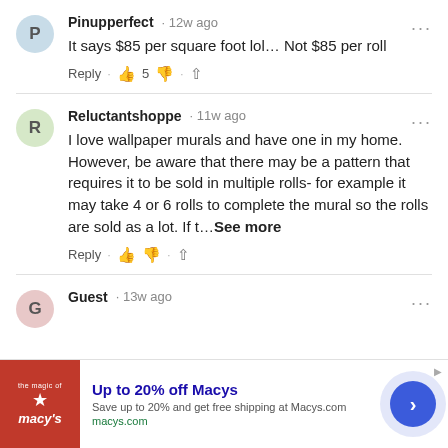Pinupperfect · 12w ago
It says $85 per square foot lol… Not $85 per roll
Reply · 👍 5 👎 · share
Reluctantshoppe · 11w ago
I love wallpaper murals and have one in my home.  However, be aware that there may be a pattern that requires it to be sold in multiple rolls- for example it may take 4 or 6 rolls to complete the mural so the rolls are sold as a lot. If t…See more
Reply · 👍 👎 · share
Guest · 13w ago
[Figure (screenshot): Macy's advertisement banner: 'Up to 20% off Macys - Save up to 20% and get free shipping at Macys.com - macys.com' with Macy's logo on red background and blue arrow button]